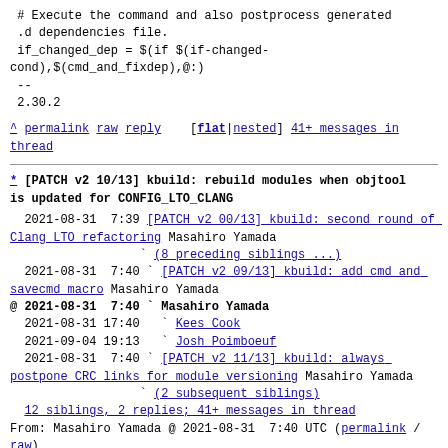# Execute the command and also postprocess generated .d dependencies file.
 if_changed_dep = $(if $(if-changed-cond),$(cmd_and_fixdep),@:)
--
2.30.2
^ permalink raw reply [flat|nested] 41+ messages in thread
* [PATCH v2 10/13] kbuild: rebuild modules when objtool is updated for CONFIG_LTO_CLANG
2021-08-31  7:39 [PATCH v2 00/13] kbuild: second round of Clang LTO refactoring Masahiro Yamada
                  ` (8 preceding siblings ...)
  2021-08-31  7:40 ` [PATCH v2 09/13] kbuild: add cmd and savecmd macro Masahiro Yamada
@ 2021-08-31  7:40 ` Masahiro Yamada
  2021-08-31 17:40   ` Kees Cook
  2021-09-04 19:13   ` Josh Poimboeuf
  2021-08-31  7:40 ` [PATCH v2 11/13] kbuild: always postpone CRC links for module versioning Masahiro Yamada
                  ` (2 subsequent siblings)
  12 siblings, 2 replies; 41+ messages in thread
From: Masahiro Yamada @ 2021-08-31  7:40 UTC (permalink / raw)
  To: linux-kbuild